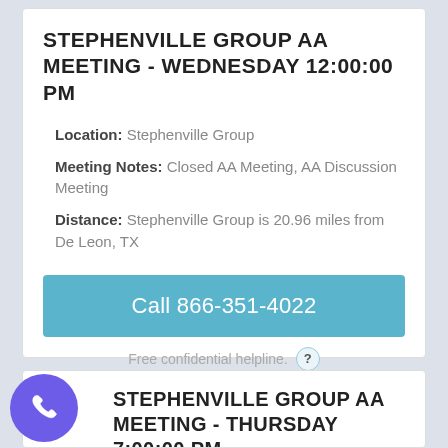STEPHENVILLE GROUP AA MEETING - WEDNESDAY 12:00:00 PM
Location: Stephenville Group
Meeting Notes: Closed AA Meeting, AA Discussion Meeting
Distance: Stephenville Group is 20.96 miles from De Leon, TX
Call 866-351-4022
Free confidential helpline.
STEPHENVILLE GROUP AA MEETING - THURSDAY 7:00:00 PM